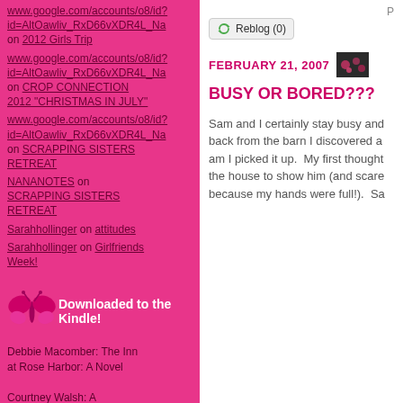www.google.com/accounts/o8/id?id=AltOawliv_RxD66vXDR4L_Na on 2012 Girls Trip
www.google.com/accounts/o8/id?id=AltOawliv_RxD66vXDR4L_Na on CROP CONNECTION 2012 "CHRISTMAS IN JULY"
www.google.com/accounts/o8/id?id=AltOawliv_RxD66vXDR4L_Na on SCRAPPING SISTERS RETREAT
NANANOTES on SCRAPPING SISTERS RETREAT
Sarahhollinger on attitudes
Sarahhollinger on Girlfriends Week!
[Figure (illustration): Pink butterfly illustration]
Downloaded to the Kindle!
Debbie Macomber: The Inn at Rose Harbor: A Novel
Courtney Walsh: A
P
Reblog (0)
FEBRUARY 21, 2007
BUSY OR BORED???
Sam and I certainly stay busy and back from the barn I discovered a am I picked it up.  My first thought the house to show him (and scare because my hands were full!).  Sa